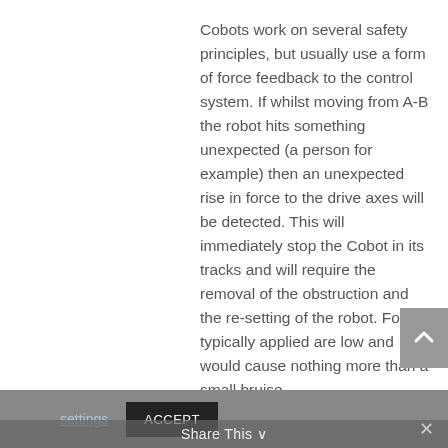Cobots work on several safety principles, but usually use a form of force feedback to the control system. If whilst moving from A-B the robot hits something unexpected (a person for example) then an unexpected rise in force to the drive axes will be detected. This will immediately stop the Cobot in its tracks and will require the removal of the obstruction and the re-setting of the robot. Forces typically applied are low and would cause nothing more than a small bruise.
This website uses cookies to improve your experience. You can opt-out if you wish. Read our Privacy Policy  Cookie settings  ACCEPT
Share This ✓